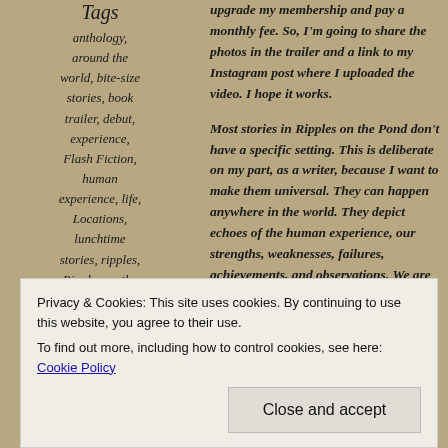Tags
anthology, around the world, bite-size stories, book trailer, debut, experience, Flash Fiction, human experience, life, Locations, lunchtime stories, ripples, Ripples on the Pond, settings,
upgrade my membership and pay a monthly fee. So, I'm going to share the photos in the trailer and a link to my Instagram post where I uploaded the video. I hope it works.
Most stories in Ripples on the Pond don't have a specific setting. This is deliberate on my part, as a writer, because I want to make them universal. They can happen anywhere in the world. They depict echoes of the human experience, our strengths, weaknesses, failures, achievements, and observations. We are the sum total of everything in our lives, in our search for happiness.
Privacy & Cookies: This site uses cookies. By continuing to use this website, you agree to their use.
To find out more, including how to control cookies, see here: Cookie Policy
Close and accept